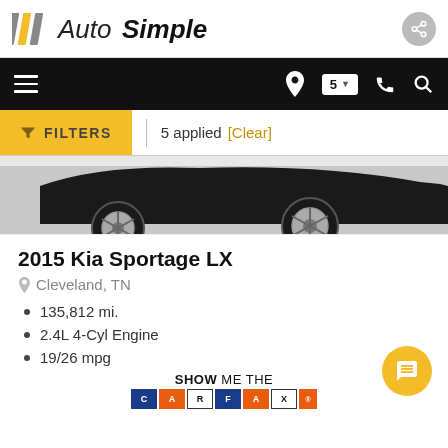Auto Simple
[Figure (screenshot): Auto Simple logo with stylized parallel lines in gray and yellow, followed by bold italic 'Auto Simple' text]
[Figure (screenshot): Navigation bar with hamburger menu, location pin with '5' badge, phone icon, and search icon on black background]
[Figure (screenshot): Filter bar with yellow FILTERS button showing funnel icon, '5 applied' text and [Clear] link]
[Figure (photo): Partial side view of a dark/black Kia Sportage vehicle showing rear quarter panel and wheel]
2015 Kia Sportage LX
Cleveland, TN
135,812 mi.
2.4L 4-Cyl Engine
19/26 mpg
[Figure (logo): SHOW ME THE CARFAX logo with colored letter blocks]